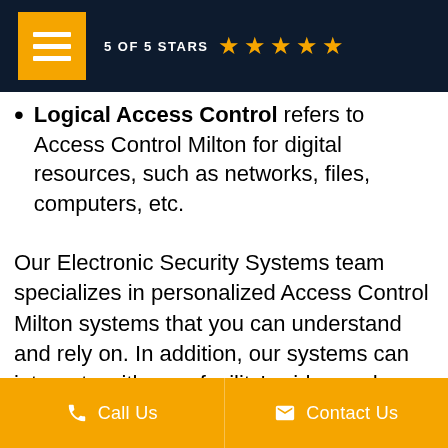5 OF 5 STARS ★★★★★
Logical Access Control refers to Access Control Milton for digital resources, such as networks, files, computers, etc.
Our Electronic Security Systems team specializes in personalized Access Control Milton systems that you can understand and rely on. In addition, our systems can integrate with your facility's video and alarm systems. We also offer a range of options to help prevent the spread of germs within a facility
Call Us   Contact Us